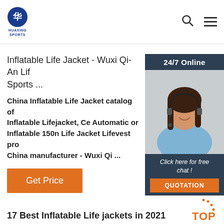HUAXING SPORTS
Inflatable Life Jacket - Wuxi Qi-An Lif Sports ...
China Inflatable Life Jacket catalog of Inflatable Lifejacket, Ce Automatic or Inflatable 150n Life Jacket Lifevest pro China manufacturer - Wuxi Qi ...
[Figure (photo): Customer service representative woman with headset, 24/7 Online chat widget with QUOTATION button]
Get Price
17 Best Inflatable Life jackets in 2021
2021-2-13u2002·u2002The two metal rings in the front of the jacket might be desired by some people. However, the extra weight D-ring might not be worth it for people that just want a lightweight life jacket. The video above shows